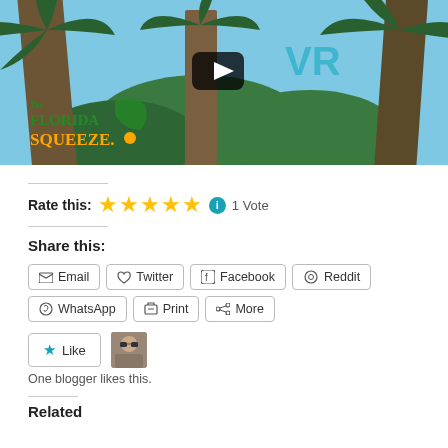[Figure (screenshot): Video thumbnail showing palm trees against blue sky with a YouTube play button overlay, 'VR' text in teal, and 'The Florida Squeeze' logo in green and orange at bottom left]
Rate this: ★★★★★ ℹ 1 Vote
Share this:
Email  Twitter  Facebook  Reddit  WhatsApp  Print  More
Like  One blogger likes this.
Related